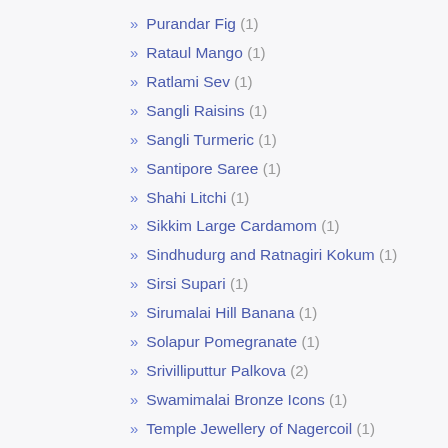Purandar Fig (1)
Rataul Mango (1)
Ratlami Sev (1)
Sangli Raisins (1)
Sangli Turmeric (1)
Santipore Saree (1)
Shahi Litchi (1)
Sikkim Large Cardamom (1)
Sindhudurg and Ratnagiri Kokum (1)
Sirsi Supari (1)
Sirumalai Hill Banana (1)
Solapur Pomegranate (1)
Srivilliputtur Palkova (2)
Swamimalai Bronze Icons (1)
Temple Jewellery of Nagercoil (1)